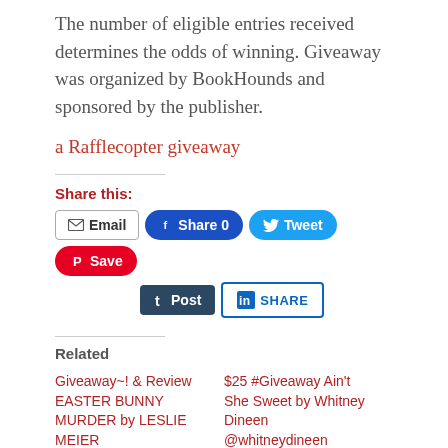The number of eligible entries received determines the odds of winning. Giveaway was organized by BookHounds and sponsored by the publisher.
a Rafflecopter giveaway
Share this:
Email | Share 0 | Tweet | Save | Post | SHARE
Related
Giveaway~! & Review EASTER BUNNY MURDER by LESLIE MEIER
$25 #Giveaway Ain't She Sweet by Whitney Dineen @whitneydineen @XpressoTours Ends